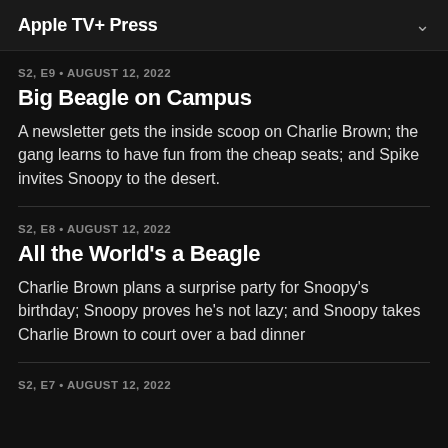Apple TV+ Press
S2, E9 • AUGUST 12, 2022
Big Beagle on Campus
A newsletter gets the inside scoop on Charlie Brown; the gang learns to have fun from the cheap seats; and Spike invites Snoopy to the desert.
S2, E8 • AUGUST 12, 2022
All the World's a Beagle
Charlie Brown plans a surprise party for Snoopy's birthday; Snoopy proves he's not lazy; and Snoopy takes Charlie Brown to court over a bad dinner
S2, E7 • AUGUST 12, 2022